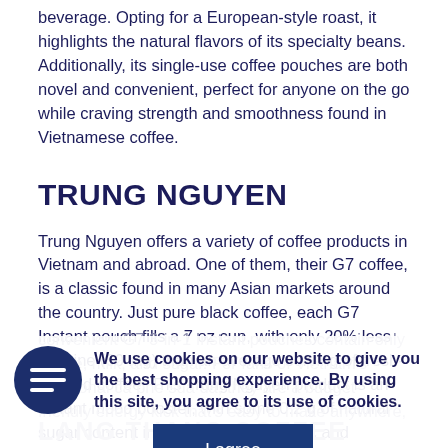beverage. Opting for a European-style roast, it highlights the natural flavors of its specialty beans. Additionally, its single-use coffee pouches are both novel and convenient, perfect for anyone on the go while craving strength and smoothness found in Vietnamese coffee.
TRUNG NGUYEN
Trung Nguyen offers a variety of coffee products in Vietnam and abroad. One of them, their G7 coffee, is a classic found in many Asian markets around the country. Just pure black coffee, each G7 Instant pouch fills a 7 oz cup, with only 20% less caffeine (60 mg) than an average serving of fresh-brewed coffee. This Trung Nguyen product is an instant mood booster, with some 0.2 g of natural sugar content in these beans. Organic and guaranteed fresh, convenient G7 3-in-1 Instant pouches contain only coffee, milk, and sugar. For fans of Vietnam's traditional ca phe sua da, they are a budget-friendly energy kick that's easy to make anywhere,
We use cookies on our website to give you the best shopping experience. By using this site, you agree to its use of cookies.
LANG THANG COFFEE